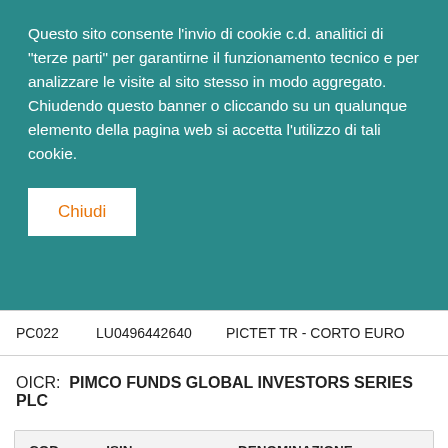Questo sito consente l'invio di cookie c.d. analitici di "terze parti" per garantirne il funzionamento tecnico e per analizzare le visite al sito stesso in modo aggregato. Chiudendo questo banner o cliccando su un qualunque elemento della pagina web si accetta l'utilizzo di tali cookie.
Chiudi
| PC022 | LU0496442640 | PICTET TR - CORTO EURO |
OICR:  PIMCO FUNDS GLOBAL INVESTORS SERIES PLC
| COD. | ISIN | DENOMINAZIONE |
| --- | --- | --- |
| PM001 | IE00B29K0P99 | PIMCO EMERGING LOCA |